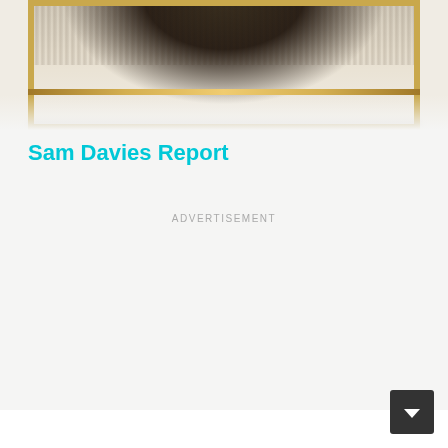[Figure (photo): A framed painting or picture hanging on a textured white wall, shown in a gold ornate frame. The bottom portion of a framed artwork is visible, with the gold frame prominent against the rough textured wall surface.]
Sam Davies Report
ADVERTISEMENT